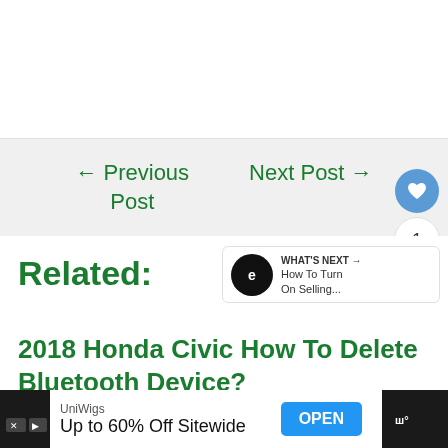← Previous Post
Next Post →
Related:
WHAT'S NEXT → How To Turn On Selling...
2018 Honda Civic How To Delete Bluetooth Device?
UniWigs Up to 60% Off Sitewide OPEN